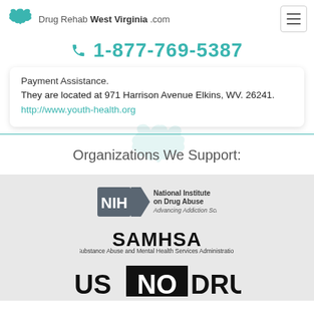Drug Rehab West Virginia .com
1-877-769-5387
Payment Assistance.
They are located at 971 Harrison Avenue Elkins, WV. 26241.
http://www.youth-health.org
Organizations We Support:
[Figure (logo): NIH National Institute on Drug Abuse - Advancing Addiction Science logo]
[Figure (logo): SAMHSA - Substance Abuse and Mental Health Services Administration logo]
[Figure (logo): US No Drugs logo]